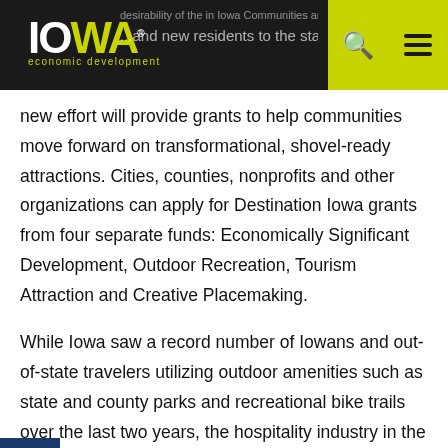IOWA economic development
new effort will provide grants to help communities move forward on transformational, shovel-ready attractions. Cities, counties, nonprofits and other organizations can apply for Destination Iowa grants from four separate funds: Economically Significant Development, Outdoor Recreation, Tourism Attraction and Creative Placemaking.
While Iowa saw a record number of Iowans and out-of-state travelers utilizing outdoor amenities such as state and county parks and recreational bike trails over the last two years, the hospitality industry in the State of Iowa experienced a 46.1% decrease in